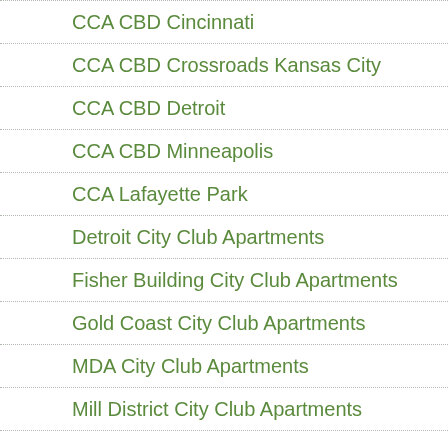CCA CBD Cincinnati
CCA CBD Crossroads Kansas City
CCA CBD Detroit
CCA CBD Minneapolis
CCA Lafayette Park
Detroit City Club Apartments
Fisher Building City Club Apartments
Gold Coast City Club Apartments
MDA City Club Apartments
Mill District City Club Apartments